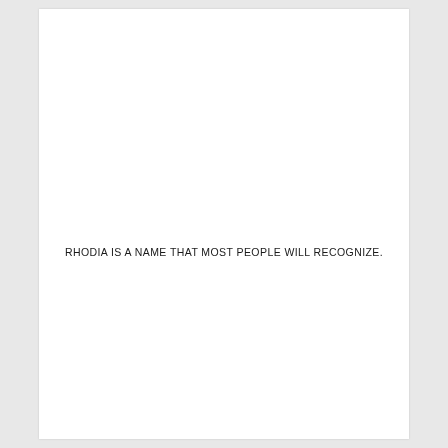RHODIA IS A NAME THAT MOST PEOPLE WILL RECOGNIZE.